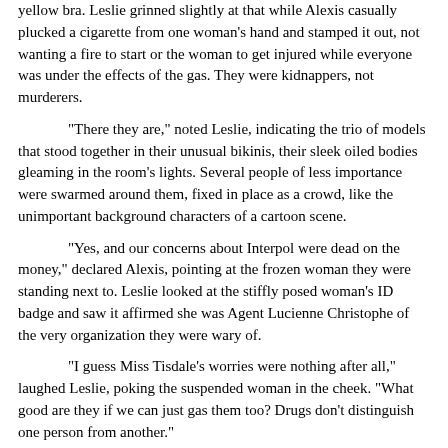yellow bra. Leslie grinned slightly at that while Alexis casually plucked a cigarette from one woman's hand and stamped it out, not wanting a fire to start or the woman to get injured while everyone was under the effects of the gas. They were kidnappers, not murderers.
"There they are," noted Leslie, indicating the trio of models that stood together in their unusual bikinis, their sleek oiled bodies gleaming in the room's lights. Several people of less importance were swarmed around them, fixed in place as a crowd, like the unimportant background characters of a cartoon scene.
"Yes, and our concerns about Interpol were dead on the money," declared Alexis, pointing at the frozen woman they were standing next to. Leslie looked at the stiffly posed woman's ID badge and saw it affirmed she was Agent Lucienne Christophe of the very organization they were wary of.
"I guess Miss Tisdale's worries were nothing after all," laughed Leslie, poking the suspended woman in the cheek. "What good are they if we can just gas them too? Drugs don't distinguish one person from another."
"Indeed; still, we should keep this in mind," replied Alexis, heading towards the trio and wrapping her arms around Adina's waist. The woman was barefoot, thus dragging her on her heels